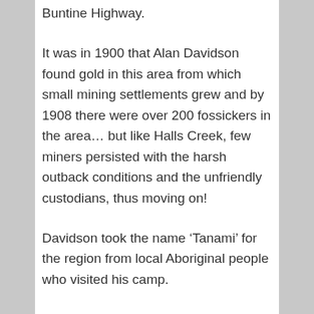Buntine Highway.
It was in 1900 that Alan Davidson found gold in this area from which small mining settlements grew and by 1908 there were over 200 fossickers in the area… but like Halls Creek, few miners persisted with the harsh outback conditions and the unfriendly custodians, thus moving on!
Davidson took the name ‘Tanami’ for the region from local Aboriginal people who visited his camp.
Since then ‘The Tanami’ and ‘The Granites’ mine, further down the track, have opened and closed according to the fluctuating price